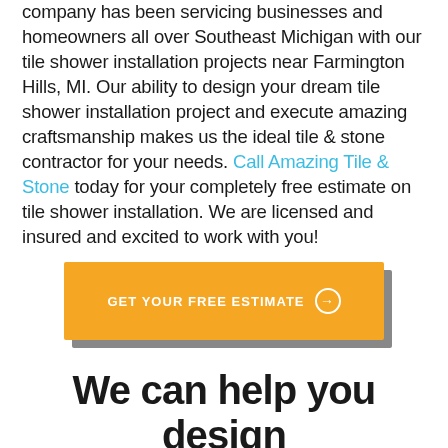company has been servicing businesses and homeowners all over Southeast Michigan with our tile shower installation projects near Farmington Hills, MI. Our ability to design your dream tile shower installation project and execute amazing craftsmanship makes us the ideal tile & stone contractor for your needs. Call Amazing Tile & Stone today for your completely free estimate on tile shower installation. We are licensed and insured and excited to work with you!
[Figure (other): Orange call-to-action button with shadow reading 'GET YOUR FREE ESTIMATE' with a circled arrow icon]
We can help you design within any budget.